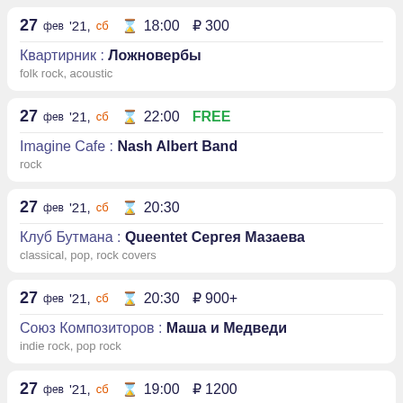27 фев '21, сб ⊙ 18:00 ₽300 | Квартирник : Ложновербы | folk rock, acoustic
27 фев '21, сб ⊙ 22:00 FREE | Imagine Cafe : Nash Albert Band | rock
27 фев '21, сб ⊙ 20:30 | Клуб Бутмана : Queentet Сергея Мазаева | classical, pop, rock covers
27 фев '21, сб ⊙ 20:30 ₽900+ | Союз Композиторов : Маша и Медведи | indie rock, pop rock
27 фев '21, сб ⊙ 19:00 ₽1200 | Sherwood : Йорш